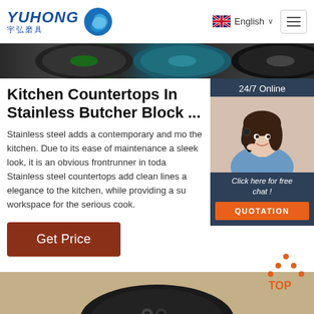YUHONG 宇弘磨具 | English | Menu
[Figure (photo): Banner strip showing abrasive cutting discs (green, blue, black) close-up]
Kitchen Countertops In Stainless Butcher Block ...
Stainless steel adds a contemporary and modern touch to the kitchen. Due to its ease of maintenance and sleek look, it is an obvious frontrunner in today. Stainless steel countertops add clean lines and elegance to the kitchen, while providing a superior workspace for the serious cook.
[Figure (photo): 24/7 Online chat widget with a woman wearing a headset, click here for free chat, QUOTATION button]
Get Price
[Figure (other): TOP button with orange dot triangle icon]
[Figure (photo): Bottom image showing a dark abrasive disc on a surface]